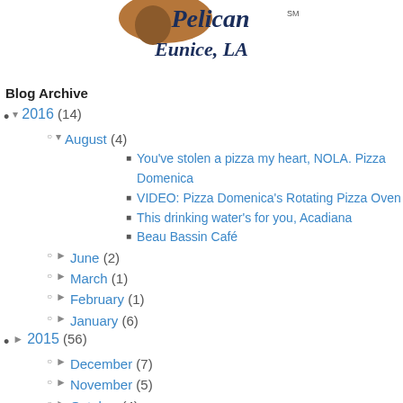[Figure (logo): Partial logo with brown pelican/helmet graphic and cursive text, 'Eunice, LA' text below in italic serif font with dark navy color]
Blog Archive
2016 (14)
August (4)
You've stolen a pizza my heart, NOLA. Pizza Domenica
VIDEO: Pizza Domenica's Rotating Pizza Oven
This drinking water's for you, Acadiana
Beau Bassin Café
June (2)
March (1)
February (1)
January (6)
2015 (56)
December (7)
November (5)
October (4)